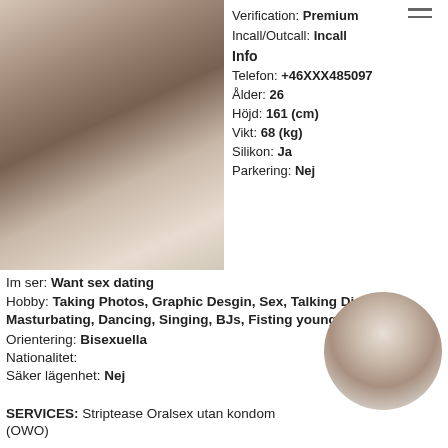[Figure (photo): Young woman with long brown hair, white top, selfie-style photo]
Verification: Premium
Incall/Outcall: Incall
Info
Telefon: +46XXX485097
Ålder: 26
Höjd: 161 (cm)
Vikt: 68 (kg)
Silikon: Ja
Parkering: Nej
Im ser: Want sex dating
Hobby: Taking Photos, Graphic Desgin, Sex, Talking Dirty, Masturbating, Dancing, Singing, BJs, Fisting younger girls
Orientering: Bisexuella
Nationalitet:
Säker lägenhet: Nej
[Figure (photo): Circular thumbnail of dark-haired woman]
SERVICES: Striptease Oralsex utan kondom (OWO)